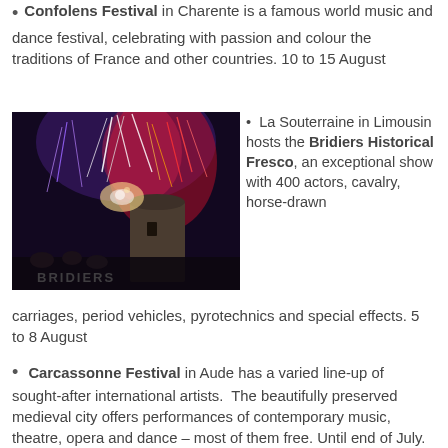Confolens Festival in Charente is a famous world music and dance festival, celebrating with passion and colour the traditions of France and other countries. 10 to 15 August
[Figure (photo): Night-time fireworks and pyrotechnics display near a historic stone tower, with colorful red, purple and white sparks. Performers visible in the foreground. Text 'BRIDIERS' partially visible at bottom of image.]
La Souterraine in Limousin hosts the Bridiers Historical Fresco, an exceptional show with 400 actors, cavalry, horse-drawn carriages, period vehicles, pyrotechnics and special effects. 5 to 8 August
Carcassonne Festival in Aude has a varied line-up of sought-after international artists. The beautifully preserved medieval city offers performances of contemporary music, theatre, opera and dance – most of them free. Until end of July.